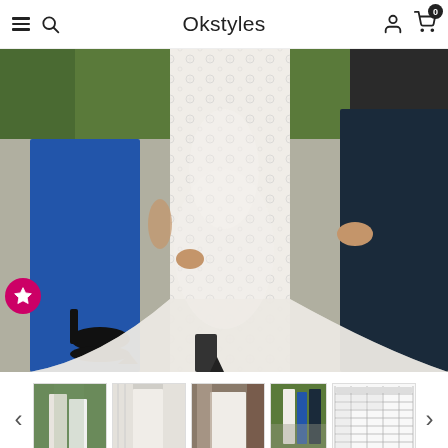Okstyles
[Figure (photo): Wedding scene showing lower half of three people walking: woman in blue dress with black heeled sandals on left, bride in white lace mermaid gown with long train in center, man in dark suit on right. Outdoor setting with greenery in background.]
[Figure (photo): Thumbnail 1: Two women in wedding attire standing together outdoors]
[Figure (photo): Thumbnail 2: Bride in white mermaid gown near curtains]
[Figure (photo): Thumbnail 3: Bride in white gown indoors near window]
[Figure (photo): Thumbnail 4: Wedding group photo outdoors]
[Figure (table-as-image): Thumbnail 5: Size chart table]